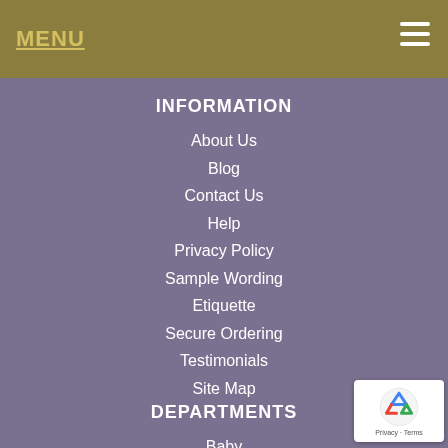MENU
INFORMATION
About Us
Blog
Contact Us
Help
Privacy Policy
Sample Wording
Etiquette
Secure Ordering
Testimonials
Site Map
DEPARTMENTS
Baby
Graduation
Holiday
Party
Quinceañera
Wedding